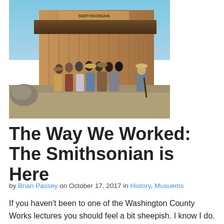[Figure (photo): Group photo of approximately 20 people standing in front of a rustic wooden building. Some people are dressed in old west/frontier costumes including hats, long dresses, and one person holding a rifle. The setting appears to be outdoors with gravel and rocks visible.]
The Way We Worked: The Smithsonian is Here
by Brian Passey on October 17, 2017 in History, Musuems
If you haven't been to one of the Washington County Works lectures you should feel a bit sheepish. I know I do. Even though I'm unemployed, I've managed to